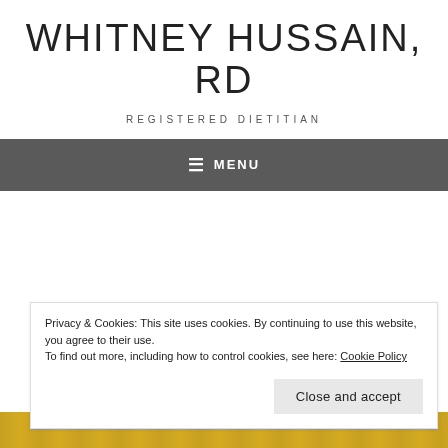WHITNEY HUSSAIN, RD
REGISTERED DIETITIAN
≡ MENU
Privacy & Cookies: This site uses cookies. By continuing to use this website, you agree to their use.
To find out more, including how to control cookies, see here: Cookie Policy
Close and accept
[Figure (photo): Bottom edge of a food photo, showing a yellow/gold colored dish or bowl, partially visible at the bottom of the page.]